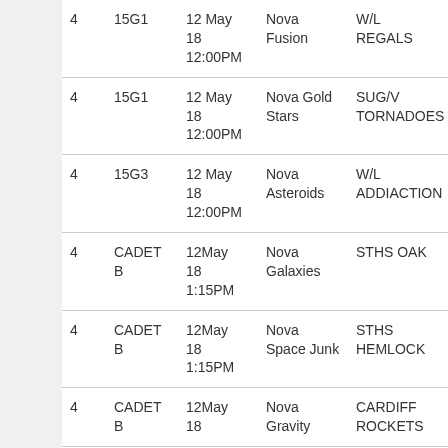|  |  | Date/Time | Team | Opponent |  |
| --- | --- | --- | --- | --- | --- |
| 4 | 15G1 | 12 May
18
12:00PM | Nova Fusion | W/L REGALS | W |
| 4 | 15G1 | 12 May
18
12:00PM | Nova Gold Stars | SUG/V TORNADOES | W |
| 4 | 15G3 | 12 May
18
12:00PM | Nova Asteroids | W/L ADDIACTION | L |
| 4 | CADET B | 12May
18
1:15PM | Nova Galaxies | STHS OAK | W |
| 4 | CADET B | 12May
18
1:15PM | Nova Space Junk | STHS HEMLOCK | L |
| 4 | CADET B | 12May
18 | Nova Gravity | CARDIFF ROCKETS | W |